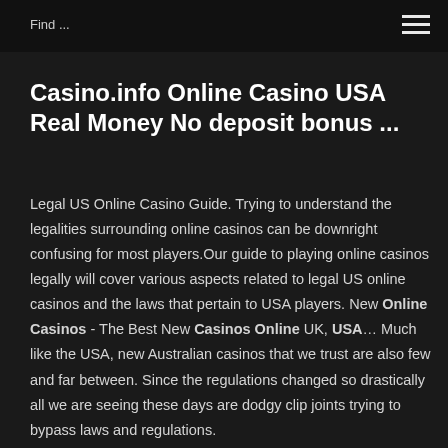Find ...
Casino.info Online Casino USA Real Money No deposit bonus ...
Legal US Online Casino Guide. Trying to understand the legalities surrounding online casinos can be downright confusing for most players.Our guide to playing online casinos legally will cover various aspects related to legal US online casinos and the laws that pertain to USA players. New Online Casinos - The Best New Casinos Online UK, USA… Much like the USA, new Australian casinos that we trust are also few and far between. Since the regulations changed so drastically all we are seeing these days are dodgy clip joints trying to bypass laws and regulations.